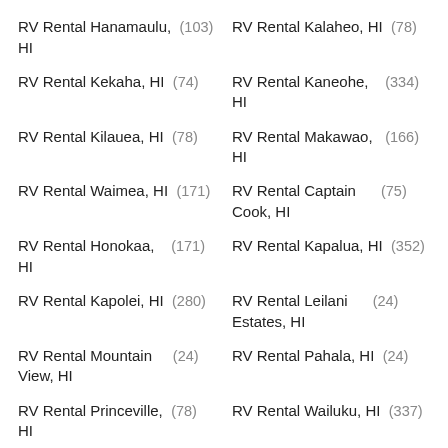RV Rental Hanamaulu, HI (103)
RV Rental Kalaheo, HI (78)
RV Rental Kekaha, HI (74)
RV Rental Kaneohe, HI (334)
RV Rental Kilauea, HI (78)
RV Rental Makawao, HI (166)
RV Rental Waimea, HI (171)
RV Rental Captain Cook, HI (75)
RV Rental Honokaa, HI (171)
RV Rental Kapalua, HI (352)
RV Rental Kapolei, HI (280)
RV Rental Leilani Estates, HI (24)
RV Rental Mountain View, HI (24)
RV Rental Pahala, HI (24)
RV Rental Princeville, HI (78)
RV Rental Wailuku, HI (337)
RV Rental Waimanalo, HI (351)
RV Rental Aiea, HI (240)
RV Rental Eleele, HI (78)
RV Rental Ewa Beach, HI (267)